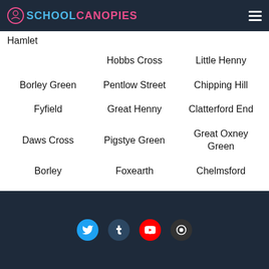SCHOOL CANOPIES
Hamlet
Hobbs Cross
Little Henny
Borley Green
Pentlow Street
Chipping Hill
Fyfield
Great Henny
Clatterford End
Daws Cross
Pigstye Green
Great Oxney Green
Borley
Foxearth
Chelmsford
Threshers Bush
Social media icons: Twitter, Tumblr, YouTube, other